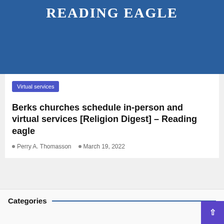READING EAGLE
Virtual services
Berks churches schedule in-person and virtual services [Religion Digest] – Reading eagle
Perry A. Thomasson   March 19, 2022
Categories